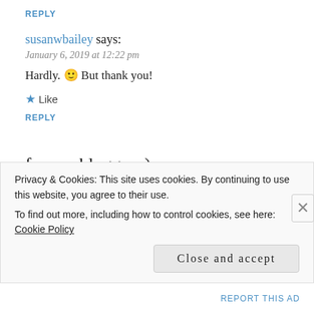REPLY
susanwbailey says:
January 6, 2019 at 12:22 pm
Hardly. 🙂 But thank you!
★ Like
REPLY
former blogger :) says:
January 6, 2019 at 12:48 pm
Wonderful luck to you, my friend! You're taking on a worthy project, &
Privacy & Cookies: This site uses cookies. By continuing to use this website, you agree to their use.
To find out more, including how to control cookies, see here: Cookie Policy
Close and accept